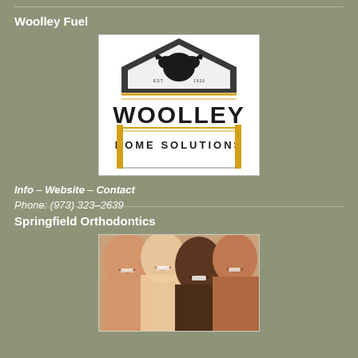Woolley Fuel
[Figure (logo): Woolley Home Solutions logo with ram head graphic, established 1926, black and gold text on white background]
Info – Website – Contact
Phone: (973) 323-2639
Springfield Orthodontics
[Figure (photo): Group of smiling young adults posing together, diverse group]